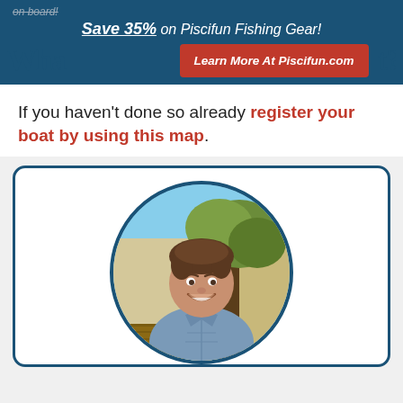on board!
Save 35% on Piscifun Fishing Gear!
Learn More At Piscifun.com
What to do next?
If you haven't done so already register your boat by using this map.
[Figure (photo): Circular profile photo of a smiling young man with brown hair, wearing a grey button-up shirt, standing outdoors with trees and a building in the background. The photo is framed in a circular crop with a dark blue border, inside a rounded-rectangle card with a dark blue border.]